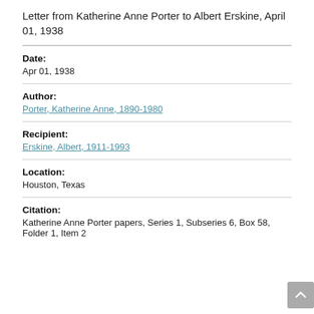Letter from Katherine Anne Porter to Albert Erskine, April 01, 1938
Date:
Apr 01, 1938
Author:
Porter, Katherine Anne, 1890-1980
Recipient:
Erskine, Albert, 1911-1993
Location:
Houston, Texas
Citation:
Katherine Anne Porter papers, Series 1, Subseries 6, Box 58, Folder 1, Item 2